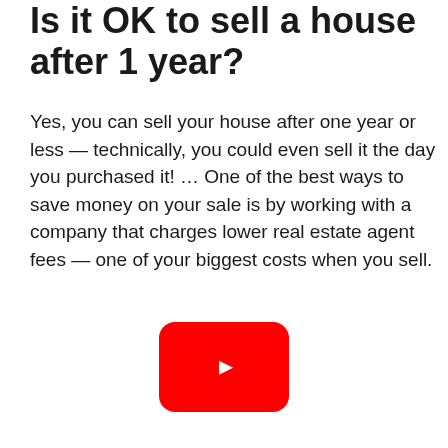Is it OK to sell a house after 1 year?
Yes, you can sell your house after one year or less — technically, you could even sell it the day you purchased it! ... One of the best ways to save money on your sale is by working with a company that charges lower real estate agent fees — one of your biggest costs when you sell.
[Figure (other): YouTube play button icon — red rounded rectangle with white triangle pointing right]